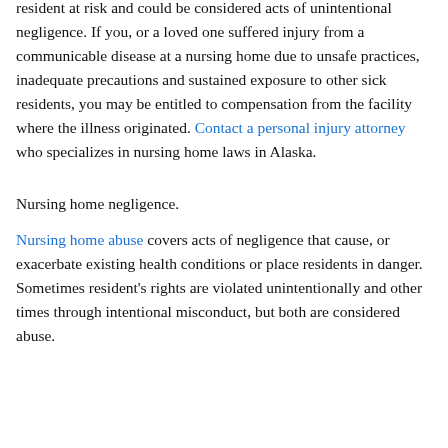resident at risk and could be considered acts of unintentional negligence. If you, or a loved one suffered injury from a communicable disease at a nursing home due to unsafe practices, inadequate precautions and sustained exposure to other sick residents, you may be entitled to compensation from the facility where the illness originated. Contact a personal injury attorney who specializes in nursing home laws in Alaska.
Nursing home negligence.
Nursing home abuse covers acts of negligence that cause, or exacerbate existing health conditions or place residents in danger. Sometimes resident's rights are violated unintentionally and other times through intentional misconduct, but both are considered abuse.